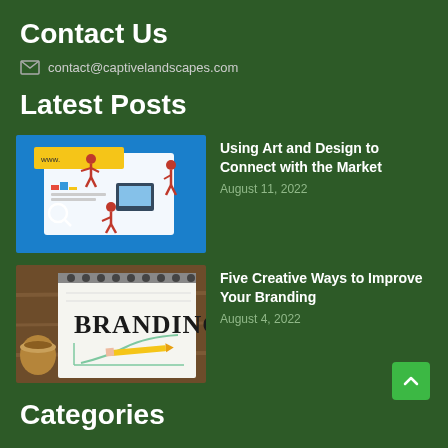Contact Us
contact@captivelandscapes.com
Latest Posts
[Figure (illustration): Illustration of people working on digital design and web layout elements, showing a large web page mockup with figures pointing and working around it, on a blue background with yellow accents.]
Using Art and Design to Connect with the Market
August 11, 2022
[Figure (photo): Photo of a notepad with BRANDING written in large letters and a graph sketch, a pencil, and a coffee cup on a wooden table.]
Five Creative Ways to Improve Your Branding
August 4, 2022
Categories